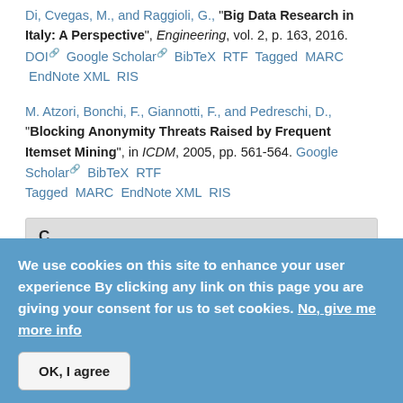Di, Cvegas, M., and Raggioli, G., "Big Data Research in Italy: A Perspective", Engineering, vol. 2, p. 163, 2016. DOI Google Scholar BibTeX RTF Tagged MARC EndNote XML RIS
M. Atzori, Bonchi, F., Giannotti, F., and Pedreschi, D., "Blocking Anonymity Threats Raised by Frequent Itemset Mining", in ICDM, 2005, pp. 561-564. Google Scholar BibTeX RTF Tagged MARC EndNote XML RIS
C
A. Basu, Corena, J. C., Monreale, A., Pedreschi, D., Giannotti, F., Kiyomoto, S., Vaidya, J., and Miyake, Y., "CF-inspired Privacy-Preserving Prediction of Next Location in the Cloud", in Cloud...
We use cookies on this site to enhance your user experience By clicking any link on this page you are giving your consent for us to set cookies. No, give me more info